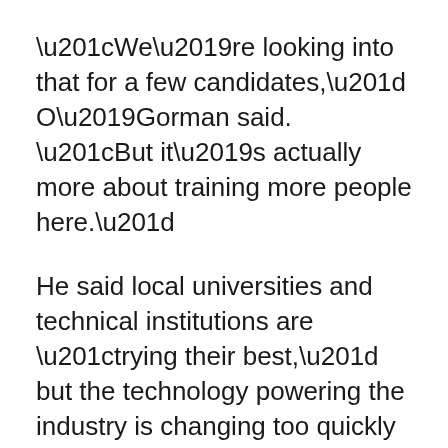“We’re looking into that for a few candidates,” O’Gorman said. “But it’s actually more about training more people here.”
He said local universities and technical institutions are “trying their best,” but the technology powering the industry is changing too quickly for their curriculum.
“The tech industry moves in days and months, not years,” says O’Gorman.
Heggerud of the U of C said there’s some truth to that, but added that it’s also up to graduates and employers to ensure those employees grow and adapt to evolving